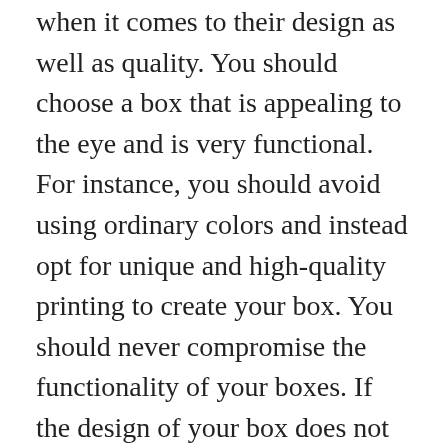when it comes to their design as well as quality. You should choose a box that is appealing to the eye and is very functional. For instance, you should avoid using ordinary colors and instead opt for unique and high-quality printing to create your box. You should never compromise the functionality of your boxes. If the design of your box does not match your marketing objectives then there is no point in investing in them.
So, if you are looking for quality products at affordable rates then free designing options are certainly available on the Internet. It is also important that you choose a reputable printer who can deliver your custom printed boxes to your desired location on time. You can even get these boxes printed in different colors and shapes